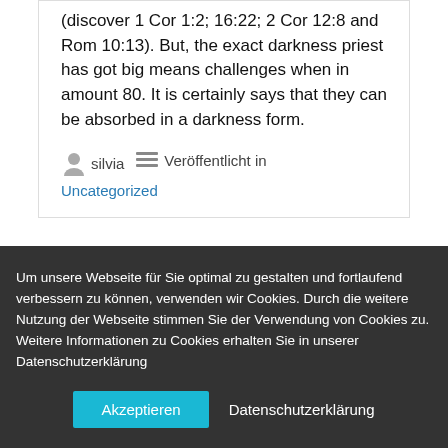(discover 1 Cor 1:2; 16:22; 2 Cor 12:8 and Rom 10:13). But, the exact darkness priest has got big means challenges when in amount 80. It is certainly says that they can be absorbed in a darkness form.
silvia   Veröffentlicht in Uncategorized
← Фрісліни В…   Howto Acquire…
Um unsere Webseite für Sie optimal zu gestalten und fortlaufend verbessern zu können, verwenden wir Cookies. Durch die weitere Nutzung der Webseite stimmen Sie der Verwendung von Cookies zu. Weitere Informationen zu Cookies erhalten Sie in unserer Datenschutzerklärung
Akzeptieren   Datenschutzerklärung